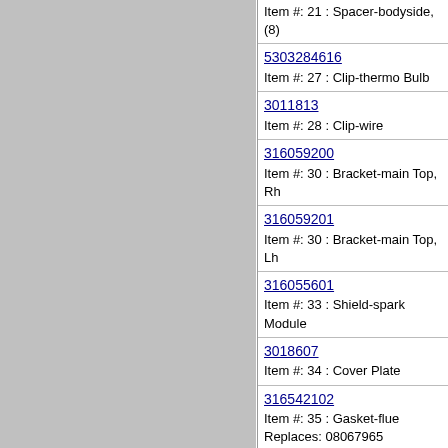Item #: 21 : Spacer-bodyside, (8)
5303284616
Item #: 27 : Clip-thermo Bulb
3011813
Item #: 28 : Clip-wire
316059200
Item #: 30 : Bracket-main Top, Rh
316059201
Item #: 30 : Bracket-main Top, Lh
316055601
Item #: 33 : Shield-spark Module
3018607
Item #: 34 : Cover Plate
316542102
Item #: 35 : Gasket-flue
Replaces: 08067965
5303273108
Item #: 36 : Flue
08067961
Item #: 39 : Fastener-power Cord
5304515659
Item #: 39 : Cord-electric Power